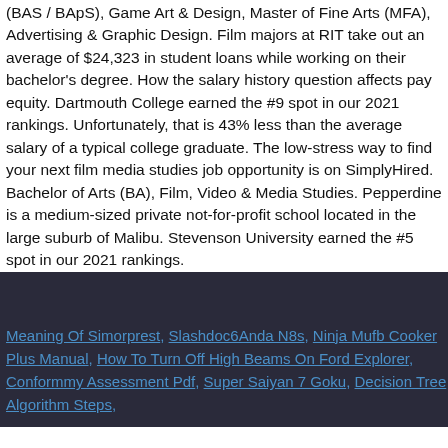(BAS / BApS), Game Art & Design, Master of Fine Arts (MFA), Advertising & Graphic Design. Film majors at RIT take out an average of $24,323 in student loans while working on their bachelor's degree. How the salary history question affects pay equity. Dartmouth College earned the #9 spot in our 2021 rankings. Unfortunately, that is 43% less than the average salary of a typical college graduate. The low-stress way to find your next film media studies job opportunity is on SimplyHired. Bachelor of Arts (BA), Film, Video & Media Studies. Pepperdine is a medium-sized private not-for-profit school located in the large suburb of Malibu. Stevenson University earned the #5 spot in our 2021 rankings.
Meaning Of Simorprest, Slashdoc6Anda N8s, Ninja Mufb Cooker Plus Manual, How To Turn Off High Beams On Ford Explorer, Conformmy Assessment Pdf, Super Saiyan 7 Goku, Decision Tree Algorithm Steps,